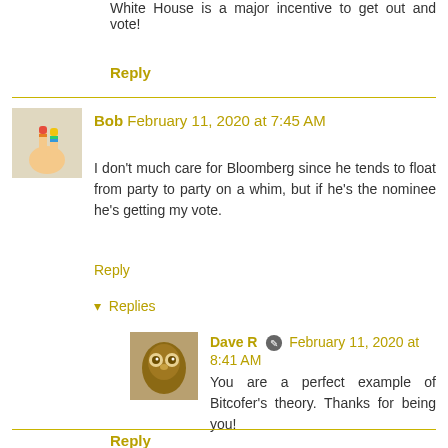White House is a major incentive to get out and vote!
Reply
Bob February 11, 2020 at 7:45 AM
I don't much care for Bloomberg since he tends to float from party to party on a whim, but if he's the nominee he's getting my vote.
Reply
Replies
Dave R February 11, 2020 at 8:41 AM
You are a perfect example of Bitcofer's theory. Thanks for being you!
Reply